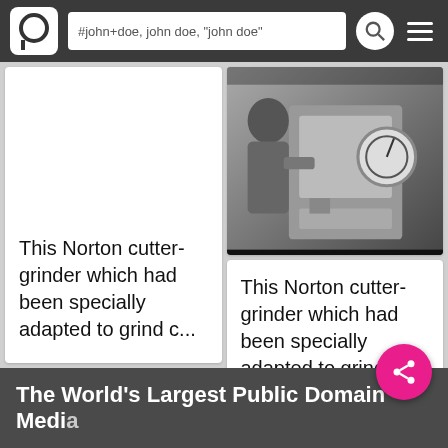#john+doe, john doe, "john doe"
This Norton cutter-grinder which had been specially adapted to grind c...
[Figure (photo): Black and white photo of a person operating a Norton cutter-grinder machine]
This Norton cutter-grinder which had been specially adapted to grind c...
The World's Largest Public Domain Media